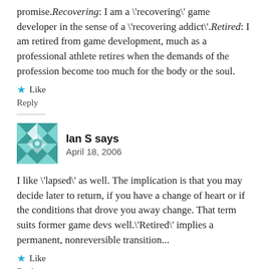promise. Recovering: I am a \'recovering\' game developer in the sense of a \'recovering addict\'. Retired: I am retired from game development, much as a professional athlete retires when the demands of the profession become too much for the body or the soul.
★ Like
Reply
Ian S says
April 18, 2006
I like \'lapsed\' as well. The implication is that you may decide later to return, if you have a change of heart or if the conditions that drove you away change. That term suits former game devs well.\'Retired\' implies a permanent, nonreversible transition...
★ Like
Reply